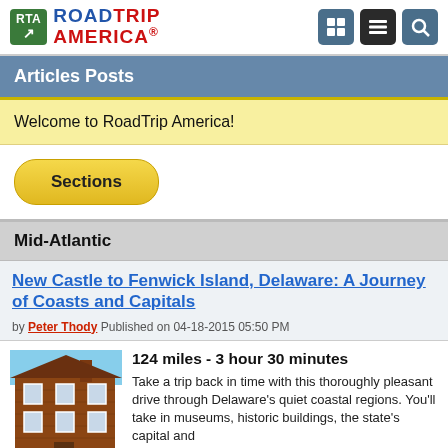RTA ROADTRIP AMERICA
Articles Posts
Welcome to RoadTrip America!
Sections
Mid-Atlantic
New Castle to Fenwick Island, Delaware: A Journey of Coasts and Capitals
by Peter Thody Published on 04-18-2015 05:50 PM
[Figure (photo): Brick colonial-style building with white-trimmed windows, likely a historic structure in Delaware]
124 miles - 3 hour 30 minutes
Take a trip back in time with this thoroughly pleasant drive through Delaware's quiet coastal regions. You'll take in museums, historic buildings, the state's capital and guides in period customs who'll explain it all to you. Above